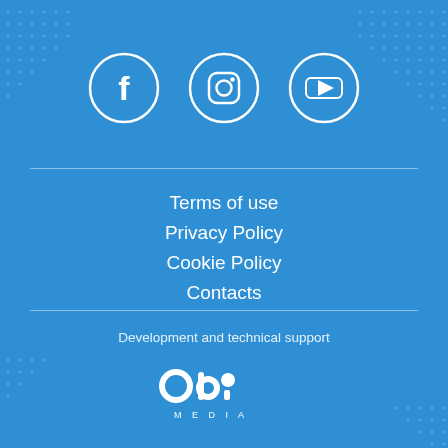[Figure (illustration): Three social media icons in white circles on blue background: Facebook (f), Instagram (camera), YouTube (play button)]
Terms of use
Privacy Policy
Cookie Policy
Contacts
Development and technical support
[Figure (logo): OBI Media logo in white]